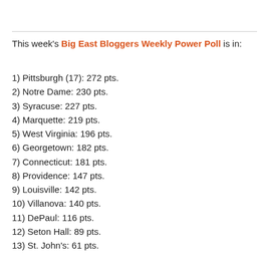This week's Big East Bloggers Weekly Power Poll is in:
1) Pittsburgh (17): 272 pts.
2) Notre Dame: 230 pts.
3) Syracuse: 227 pts.
4) Marquette: 219 pts.
5) West Virginia: 196 pts.
6) Georgetown: 182 pts.
7) Connecticut: 181 pts.
8) Providence: 147 pts.
9) Louisville: 142 pts.
10) Villanova: 140 pts.
11) DePaul: 116 pts.
12) Seton Hall: 89 pts.
13) St. John's: 61 pts.